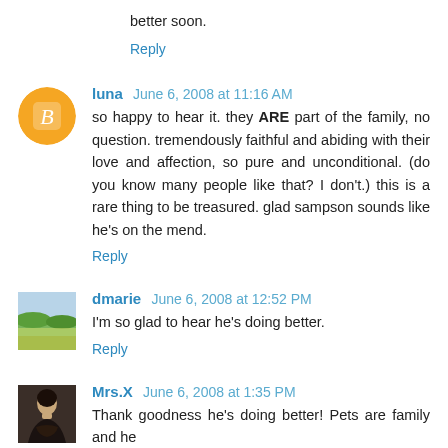better soon.
Reply
luna  June 6, 2008 at 11:16 AM
so happy to hear it. they ARE part of the family, no question. tremendously faithful and abiding with their love and affection, so pure and unconditional. (do you know many people like that? I don't.) this is a rare thing to be treasured. glad sampson sounds like he's on the mend.
Reply
dmarie  June 6, 2008 at 12:52 PM
I'm so glad to hear he's doing better.
Reply
Mrs.X  June 6, 2008 at 1:35 PM
Thank goodness he's doing better! Pets are family and he